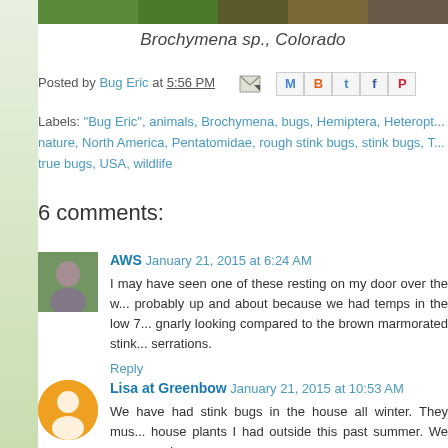[Figure (photo): Top portion of a nature photograph showing trees/bark, partially cropped]
Brochymena sp., Colorado
Posted by Bug Eric at 5:56 PM
Labels: "Bug Eric", animals, Brochymena, bugs, Hemiptera, Heteropt... nature, North America, Pentatomidae, rough stink bugs, stink bugs, T... true bugs, USA, wildlife
6 comments:
AWS  January 21, 2015 at 6:24 AM
I may have seen one of these resting on my door over the w... probably up and about because we had temps in the low 7... gnarly looking compared to the brown marmorated stink... serrations.
Reply
Lisa at Greenbow  January 21, 2015 at 10:53 AM
We have had stink bugs in the house all winter. They mus... house plants I had outside this past summer. We were wond...